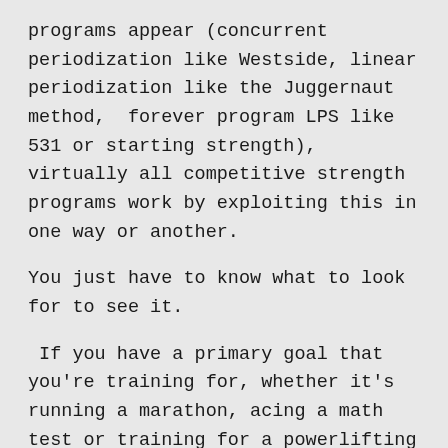programs appear (concurrent periodization like Westside, linear periodization like the Juggernaut method,  forever program LPS like 531 or starting strength), virtually all competitive strength programs work by exploiting this in one way or another.
You just have to know what to look for to see it.
If you have a primary goal that you're training for, whether it's running a marathon, acing a math test or training for a powerlifting meet, the total successful performance can be broken into smaller constituent parts. This is true for everything.